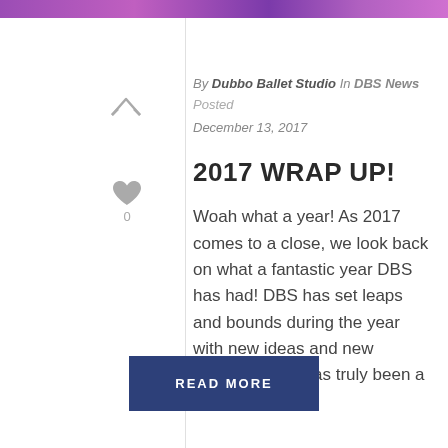[Figure (photo): Purple/pink stage performance banner image at the top of the page]
By Dubbo Ballet Studio In DBS News Posted December 13, 2017
2017 WRAP UP!
Woah what a year! As 2017 comes to a close, we look back on what a fantastic year DBS has had! DBS has set leaps and bounds during the year with new ideas and new focuses! 2017 has truly been a [...]
READ MORE